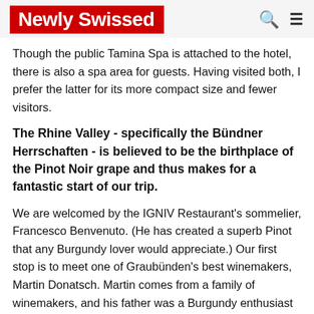Newly Swissed
Though the public Tamina Spa is attached to the hotel, there is also a spa area for guests. Having visited both, I prefer the latter for its more compact size and fewer visitors.
The Rhine Valley - specifically the Bündner Herrschaften - is believed to be the birthplace of the Pinot Noir grape and thus makes for a fantastic start of our trip.
We are welcomed by the IGNIV Restaurant's sommelier, Francesco Benvenuto. (He has created a superb Pinot that any Burgundy lover would appreciate.) Our first stop is to meet one of Graubünden's best winemakers, Martin Donatsch. Martin comes from a family of winemakers, and his father was a Burgundy enthusiast before it was fashionable. The winery is stunning, and we taste